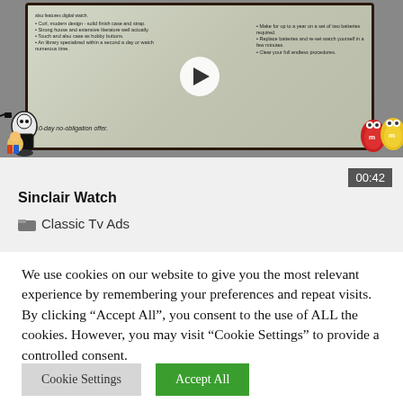[Figure (screenshot): Video thumbnail showing a TV advertisement for Sinclair Watch with a play button overlay. A TV screen displays advertisement content with text about features and '10-day no-obligation offer'. Cartoon mascots appear on either side at the bottom.]
00:42
Sinclair Watch
Classic Tv Ads
We use cookies on our website to give you the most relevant experience by remembering your preferences and repeat visits. By clicking “Accept All”, you consent to the use of ALL the cookies. However, you may visit "Cookie Settings" to provide a controlled consent.
Cookie Settings
Accept All